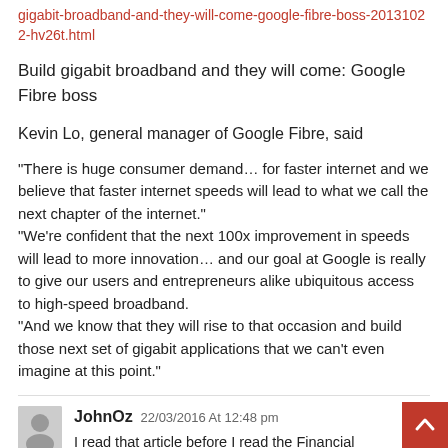gigabit-broadband-and-they-will-come-google-fibre-boss-20131022-hv26t.html
Build gigabit broadband and they will come: Google Fibre boss
Kevin Lo, general manager of Google Fibre, said
“There is huge consumer demand… for faster internet and we believe that faster internet speeds will lead to what we call the next chapter of the internet.” “We’re confident that the next 100x improvement in speeds will lead to more innovation… and our goal at Google is really to give our users and entrepreneurs alike ubiquitous access to high-speed broadband. “And we know that they will rise to that occasion and build those next set of gigabit applications that we can’t even imagine at this point.”
JohnOz 22/03/2016 At 12:48 pm
I read that article before I read the Financial